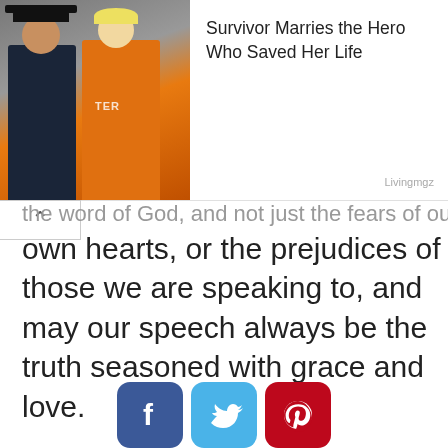[Figure (photo): Photo of a firefighter and a woman in a yellow jacket standing in front of a fire truck]
Survivor Marries the Hero Who Saved Her Life
Livingmgz
the word of God, and not just the fears of our own hearts, or the prejudices of those we are speaking to, and may our speech always be the truth seasoned with grace and love.
[Figure (other): Social share buttons: Facebook, Twitter, Pinterest]
MOST READ
In his final sermon at Saddleback, Rick Warren drives home the purpose...